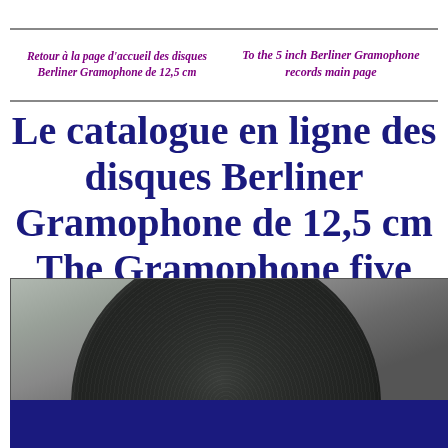Retour à la page d'accueil des disques Berliner Gramophone de 12,5 cm
To the 5 inch Berliner Gramophone records main page
Le catalogue en ligne des disques Berliner Gramophone de 12,5 cm The Gramophone five inch Berliner records online catalogue
[Figure (photo): Close-up photograph of a Berliner Gramophone record (5 inch / 12.5 cm), showing the dark grooved disc surface against a grey background, with a dark navy blue area below.]